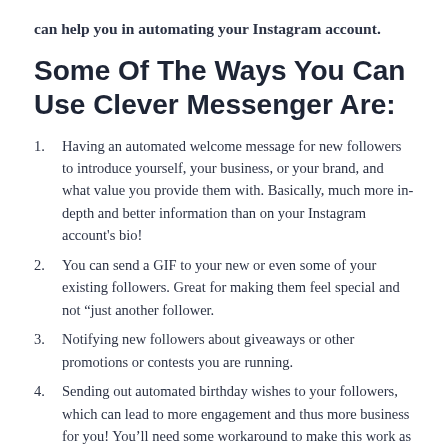can help you in automating your Instagram account.
Some Of The Ways You Can Use Clever Messenger Are:
Having an automated welcome message for new followers to introduce yourself, your business, or your brand, and what value you provide them with. Basically, much more in-depth and better information than on your Instagram account's bio!
You can send a GIF to your new or even some of your existing followers. Great for making them feel special and not “just another follower.
Notifying new followers about giveaways or other promotions or contests you are running.
Sending out automated birthday wishes to your followers, which can lead to more engagement and thus more business for you! You’ll need some workaround to make this work as you are dealing with the 24-hour rule on